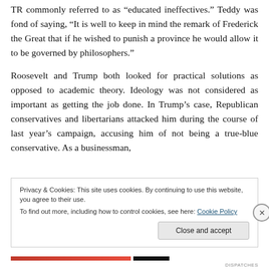TR commonly referred to as “educated ineffectives.” Teddy was fond of saying, “It is well to keep in mind the remark of Frederick the Great that if he wished to punish a province he would allow it to be governed by philosophers.”
Roosevelt and Trump both looked for practical solutions as opposed to academic theory. Ideology was not considered as important as getting the job done. In Trump’s case, Republican conservatives and libertarians attacked him during the course of last year’s campaign, accusing him of not being a true-blue conservative. As a businessman,
Privacy & Cookies: This site uses cookies. By continuing to use this website, you agree to their use.
To find out more, including how to control cookies, see here: Cookie Policy